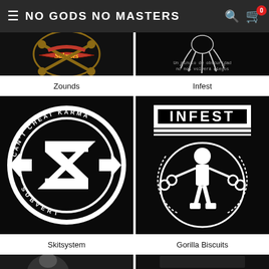NO GODS NO MASTERS
[Figure (illustration): Zounds band logo - tattoo style crossed bones with banner reading 'Salaries']
[Figure (illustration): Infest - black background with octopus tentacles and Spanish text 'Un minuto de obscuridad no nos volverá ciegos']
Zounds
Infest
[Figure (illustration): Skitsystem - Zounds circular logo with 'Can't Cheat Karma' and 'Subvert' text around the Z symbol on black background]
[Figure (illustration): Gorilla Biscuits - INFEST logo text with figure wrapped in chains on black background]
Skitsystem
Gorilla Biscuits
[Figure (photo): Partial bottom row - left image, partially visible]
[Figure (illustration): Partial bottom row - right image, partially visible]